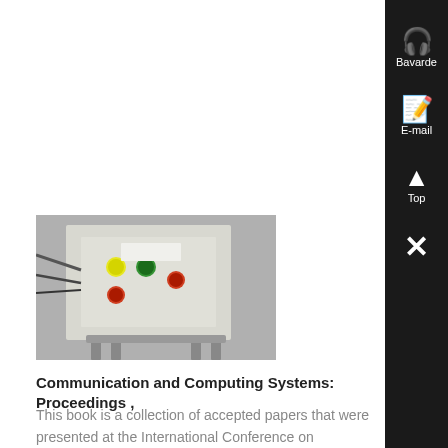[Figure (photo): Photograph of an electronic/electrical control panel or equipment box with colored buttons and wiring, mounted on a metal stand.]
Communication and Computing Systems: Proceedings ,
This book is a collection of accepted papers that were presented at the International Conference on Communication and Computing Systems , Four quadrant analog ....